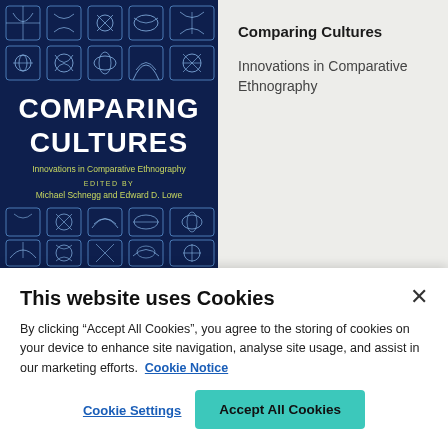[Figure (illustration): Book cover of 'Comparing Cultures: Innovations in Comparative Ethnography', edited by Michael Schnegg and Edward D. Lowe. Dark navy background with grid of abstract circular/linear white illustrations, large white bold title text, yellow-green subtitle and editor names.]
Comparing Cultures
Innovations in Comparative Ethnography
This website uses Cookies
By clicking “Accept All Cookies”, you agree to the storing of cookies on your device to enhance site navigation, analyse site usage, and assist in our marketing efforts. Cookie Notice
Cookie Settings
Accept All Cookies